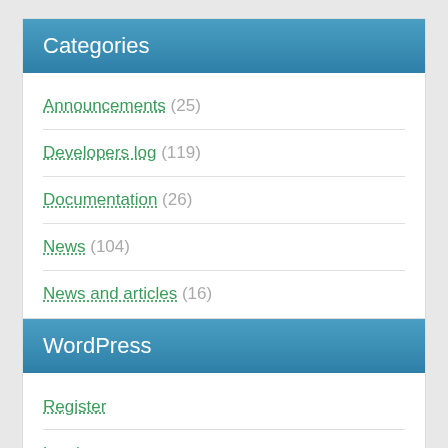Categories
Announcements (25)
Developers log (119)
Documentation (26)
News (104)
News and articles (16)
WordPress
Register
Log in